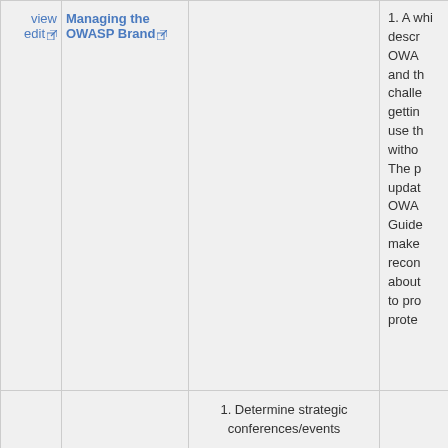| view
edit | Managing the OWASP Brand |  | 1. A whi... descr... OWA... and th... challe... gettin... use th... witho... The p... updat... OWA... Guide... make... recon... about... to pro... prote... |
|  |  | 1. Determine strategic conferences/events |  |